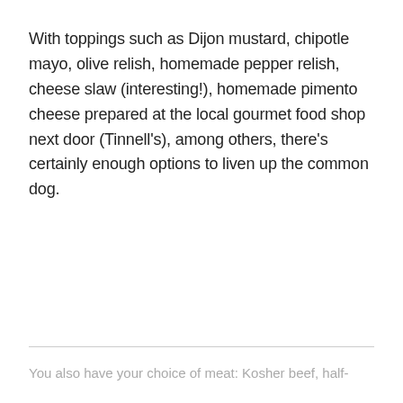With toppings such as Dijon mustard, chipotle mayo, olive relish, homemade pepper relish, cheese slaw (interesting!), homemade pimento cheese prepared at the local gourmet food shop next door (Tinnell's), among others, there's certainly enough options to liven up the common dog.
You also have your choice of meat: Kosher beef, half-